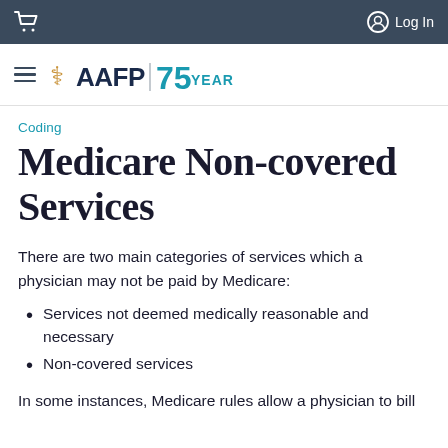Log In
[Figure (logo): AAFP logo with hamburger menu and 75 Years anniversary badge]
Coding
Medicare Non-covered Services
There are two main categories of services which a physician may not be paid by Medicare:
Services not deemed medically reasonable and necessary
Non-covered services
In some instances, Medicare rules allow a physician to bill